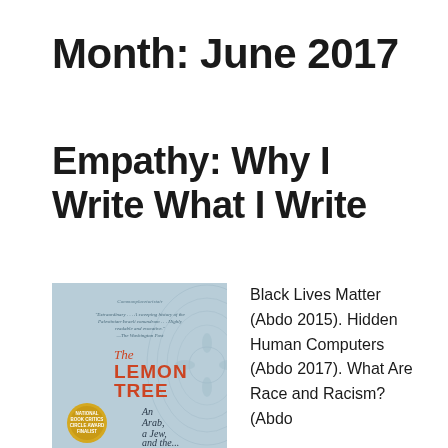Month: June 2017
Empathy: Why I Write What I Write
[Figure (photo): Book cover of 'The Lemon Tree: An Arab, a Jew, and the...' — National Book Critics Circle Award Finalist, with a quote from The Washington Post calling it 'Extraordinary... A sweeping history of the Palestinian-Israeli conundrum... Highly readable and evocative.']
Black Lives Matter (Abdo 2015). Hidden Human Computers (Abdo 2017). What Are Race and Racism? (Abdo